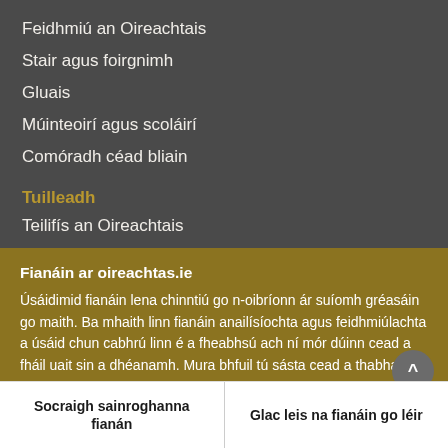Feidhmiú an Oireachtais
Stair agus foirgnimh
Gluais
Múinteoirí agus scoláirí
Comóradh céad bliain
Tuilleadh
Teilifís an Oireachtais
Fianáin ar oireachtas.ie
Úsáidimid fianáin lena chinntiú go n-oibríonn ár suíomh gréasáin go maith. Ba mhaith linn fianáin anailísíochta agus feidhmiúlachta a úsáid chun cabhrú linn é a fheabhsú ach ní mór dúinn cead a fháil uait sin a dhéanamh. Mura bhfuil tú sásta cead a thabhairt, ní úsáidfear ach fianáin riachtanacha. Léigh tuileadh faoinár bhfianáin
Socraigh sainroghanna fianán
Glac leis na fianáin go léir